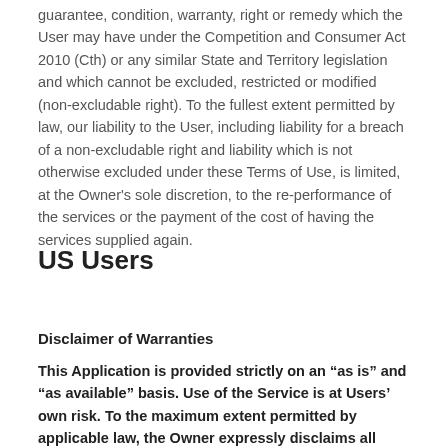guarantee, condition, warranty, right or remedy which the User may have under the Competition and Consumer Act 2010 (Cth) or any similar State and Territory legislation and which cannot be excluded, restricted or modified (non-excludable right). To the fullest extent permitted by law, our liability to the User, including liability for a breach of a non-excludable right and liability which is not otherwise excluded under these Terms of Use, is limited, at the Owner's sole discretion, to the re-performance of the services or the payment of the cost of having the services supplied again.
US Users
Disclaimer of Warranties
This Application is provided strictly on an “as is” and “as available” basis. Use of the Service is at Users’ own risk. To the maximum extent permitted by applicable law, the Owner expressly disclaims all conditions, representations, and